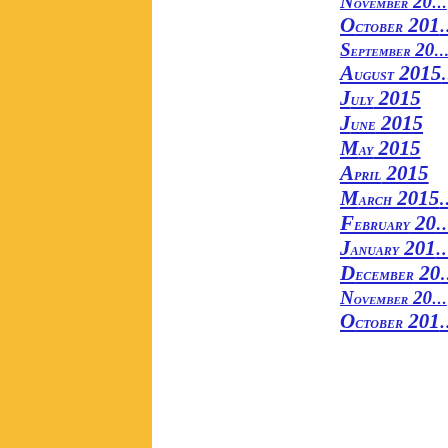[Figure (other): Yellow vertical bar/column on the left side of the page]
November 20...
October 201...
September 20...
August 2015...
July 2015
June 2015
May 2015
April 2015
March 2015...
February 20...
January 201...
December 20...
November 20...
October 201...